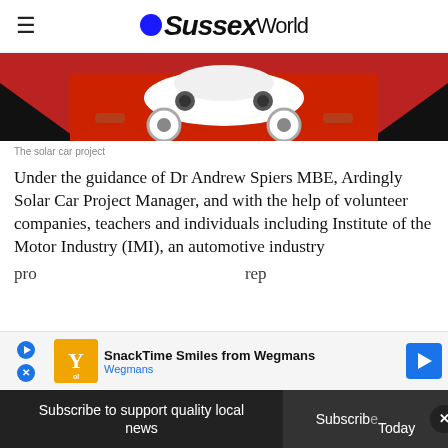Sussex World
[Figure (photo): The solar car project — top-down view of a white solar-powered car on a red carpet]
The solar car project
Under the guidance of Dr Andrew Spiers MBE, Ardingly Solar Car Project Manager, and with the help of volunteer companies, teachers and individuals including Institute of the Motor Industry (IMI), an automotive industry pro... rep...
[Figure (other): Advertisement banner: SnackTime Smiles from Wegmans — Wegmans brand ad with logo and navigation arrow]
Subscribe to support quality local news | Subscribe Today